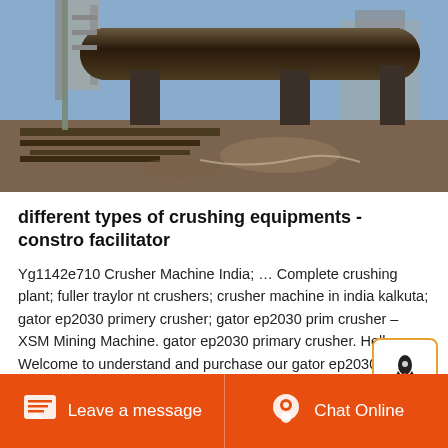[Figure (photo): Industrial mining equipment with large cylindrical drum/kiln on tracks at a mining or industrial site, with structures and steel beams in the background]
different types of crushing equipments - constro facilitator
Yg1142e710 Crusher Machine India; … Complete crushing plant; fuller traylor nt crushers; crusher machine in india kalkuta; gator ep2030 primery crusher; gator ep2030 prim crusher – XSM Mining Machine. gator ep2030 primary crusher. Hello, Welcome to understand and purchase our gator ep2030 primary crusher!
Leave a message   Chat Online